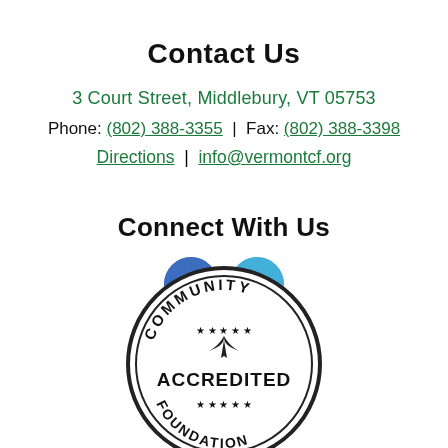Contact Us
3 Court Street, Middlebury, VT 05753
Phone: (802) 388-3355  |  Fax: (802) 388-3398
Directions | info@vermontcf.org
Connect With Us
[Figure (logo): Facebook and Twitter social media icon circles]
[Figure (logo): Community Accredited Foundation circular badge/seal]